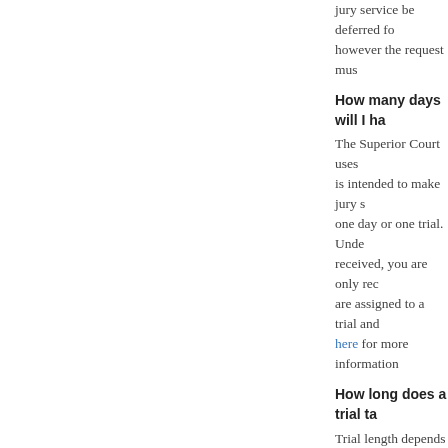jury service be deferred for however the request mus
How many days will I ha
The Superior Court uses is intended to make jury s one day or one trial. Unde received, you are only rec are assigned to a trial and here for more information
How long does a trial ta
Trial length depends on h last 3-7 days, but some m she will give you an idea t difficult. Let the judge kno during this process, beca
Do I get compensated a
Prospective jurors are pa end of a trial, at the rate o their home to the courtho
Note: All government emp their jury fees. (Code of C